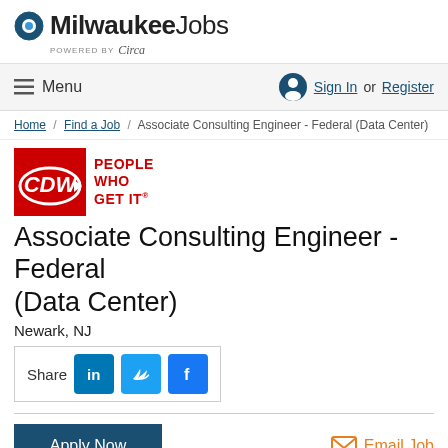MilwaukeeJobs powered by Circa
Menu  Sign In or Register
Home / Find a Job / Associate Consulting Engineer - Federal (Data Center)
[Figure (logo): CDW logo: red box with CDW text and tagline PEOPLE WHO GET IT]
Associate Consulting Engineer - Federal (Data Center)
Newark, NJ
Share [LinkedIn] [Twitter] [Facebook]
Apply Now   Email Job